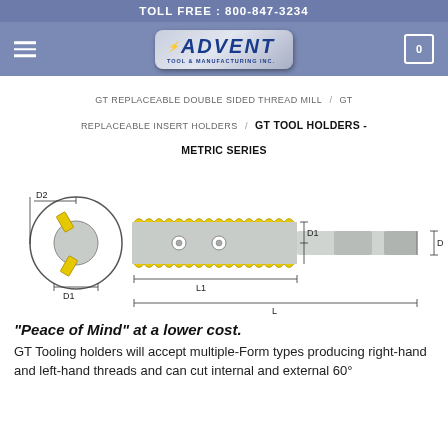TOLL FREE : 800-847-3234
[Figure (logo): Advent Tool & Manufacturing Inc. logo in silver metallic badge style with blue text]
GT REPLACEABLE DOUBLE SIDED THREAD MILL / GT REPLACEABLE INSERT HOLDERS / GT TOOL HOLDERS - METRIC SERIES
[Figure (engineering-diagram): Technical engineering diagram of a GT thread mill tool holder showing front circular cross-section view with D2 (outer diameter) and D1 (insert width) labels, and side profile view showing D1, L1, L, and D dimension callouts. The head section shows yellow threaded inserts and the shank is smooth gray with flats.]
“Peace of Mind” at a lower cost.
GT Tooling holders will accept multiple-Form types producing right-hand and left-hand threads and can cut internal and external 60°